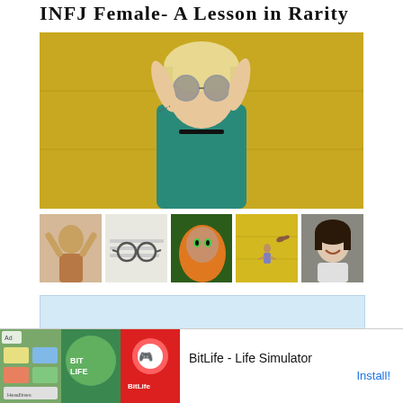INFJ Female- A Lesson in Rarity
[Figure (photo): Young blonde woman in teal top and round sunglasses posed against a yellow wall, arms raised]
[Figure (photo): Five thumbnail photos: woman with arms raised, eyeglasses on paper, woman in orange hijab with green eyes, person in yellow setting, woman smiling]
[Figure (other): Light blue promotional box with text: ESFP memes- 40 of the Very Best]
ESFP memes- 40 of the Very Best
[Figure (screenshot): Advertisement bar: Ad label, three small images including BitLife logo, text: BitLife - Life Simulator, Install! button]